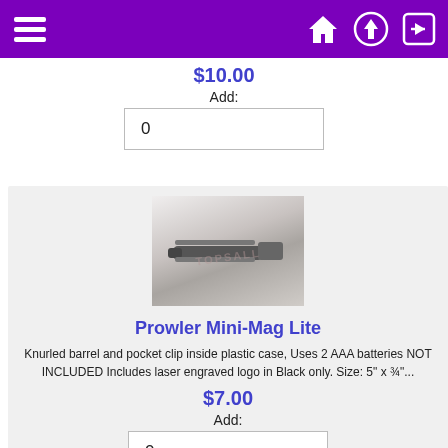Navigation bar with hamburger menu, home, upload, and login icons
$10.00
Add:
0
[Figure (photo): Photo of a Prowler Mini-Mag Lite flashlight in an open plastic case on a white fabric background, with watermark text overlay]
Prowler Mini-Mag Lite
Knurled barrel and pocket clip inside plastic case, Uses 2 AAA batteries NOT INCLUDED Includes laser engraved logo in Black only. Size: 5" x ¾"...
$7.00
Add:
0